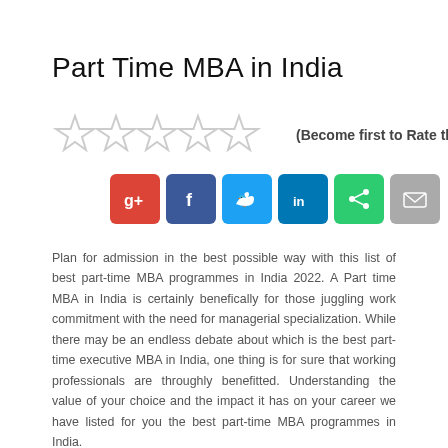Part Time MBA in India
[Figure (infographic): Five empty/unfilled star rating icons in a row, followed by bold text '(Become first to Rate this!)']
[Figure (infographic): Row of six social share buttons: Google+ (red), Facebook (dark blue), Twitter (light blue), LinkedIn (dark blue), Share/green, Email (gray)]
Plan for admission in the best possible way with this list of best part-time MBA programmes in India 2022. A Part time MBA in India is certainly benefically for those juggling work commitment with the need for managerial specialization. While there may be an endless debate about which is the best part-time executive MBA in India, one thing is for sure that working professionals are throughly benefitted. Understanding the value of your choice and the impact it has on your career we have listed for you the best part-time MBA programmes in India.